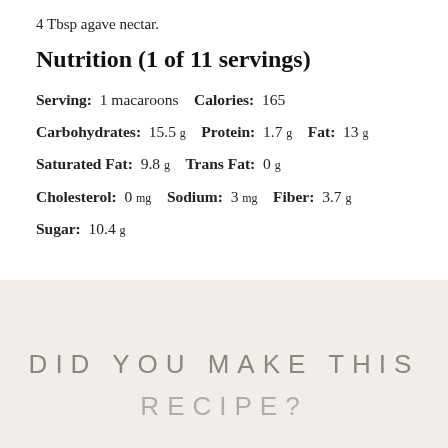4 Tbsp agave nectar.
Nutrition (1 of 11 servings)
Serving: 1 macaroons  Calories: 165
Carbohydrates: 15.5 g  Protein: 1.7 g  Fat: 13 g
Saturated Fat: 9.8 g  Trans Fat: 0 g
Cholesterol: 0 mg  Sodium: 3 mg  Fiber: 3.7 g
Sugar: 10.4 g
[Figure (other): Beige/cream banner with large spaced text reading 'DID YOU MAKE THIS RECIPE?']